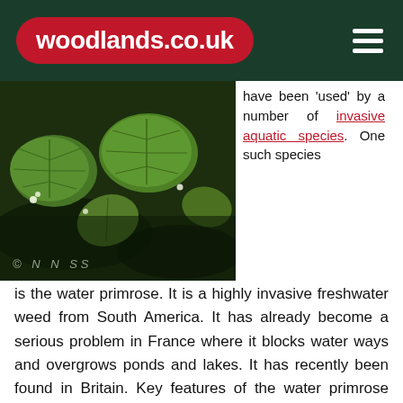woodlands.co.uk
[Figure (photo): Close-up photograph of green aquatic plant leaves on dark soil/water background, with watermark '© NNSS' in bottom left]
have been 'used' by a number of invasive aquatic species. One such species is the water primrose.  It is a highly invasive freshwater weed from South America. It has already become a serious problem in France where it blocks water ways and overgrows ponds and lakes. It has recently been found in Britain.  Key features of the water primrose include